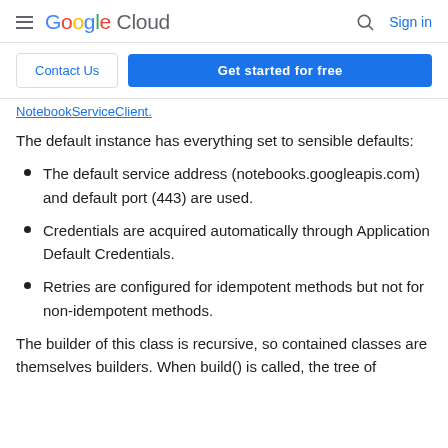Google Cloud  Sign in
Contact Us   Get started for free
NotebookServiceClient.
The default instance has everything set to sensible defaults:
The default service address (notebooks.googleapis.com) and default port (443) are used.
Credentials are acquired automatically through Application Default Credentials.
Retries are configured for idempotent methods but not for non-idempotent methods.
The builder of this class is recursive, so contained classes are themselves builders. When build() is called, the tree of